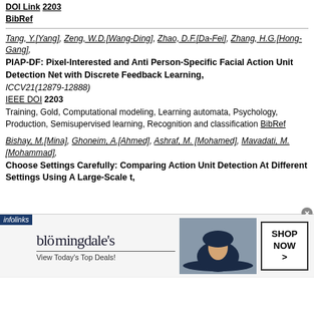DOI Link 2203
BibRef
Tang, Y.[Yang], Zeng, W.D.[Wang-Ding], Zhao, D.F.[Da-Fei], Zhang, H.G.[Hong-Gang],
PIAP-DF: Pixel-Interested and Anti Person-Specific Facial Action Unit Detection Net with Discrete Feedback Learning,
ICCV21(12879-12888)
IEEE DOI 2203
Training, Gold, Computational modeling, Learning automata, Psychology, Production, Semisupervised learning, Recognition and classification BibRef
Bishay, M.[Mina], Ghoneim, A.[Ahmed], Ashraf, M.[Mohamed], Mavadati, M.[Mohammad],
Choose Settings Carefully: Comparing Action Unit Detection At Different Settings Using A Large-Scale t,
[Figure (screenshot): Bloomingdale's advertisement banner with close button, infolinks tag, woman in hat, and SHOP NOW button]